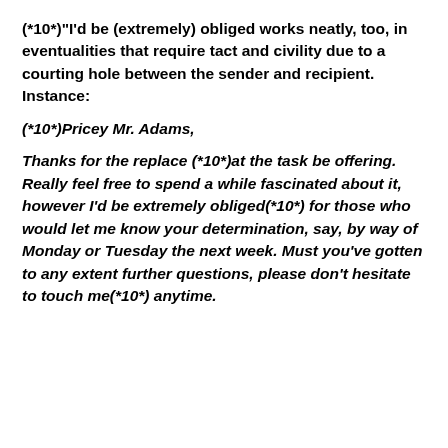(*10*)"I'd be (extremely) obliged works neatly, too, in eventualities that require tact and civility due to a courting hole between the sender and recipient. Instance:
(*10*)Pricey Mr. Adams,
Thanks for the replace (*10*)at the task be offering. Really feel free to spend a while fascinated about it, however I'd be extremely obliged(*10*) for those who would let me know your determination, say, by way of Monday or Tuesday the next week. Must you've gotten to any extent further questions, please don’t hesitate to touch me(*10*) anytime.